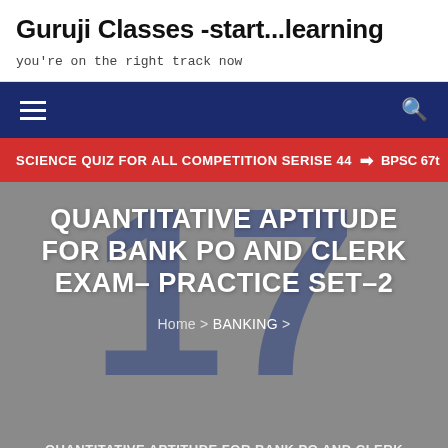Guruji Classes -start...learning
you're on the right track now
SCIENCE QUIZ FOR ALL COMPETITION SERISE 44   ❯   BPSC 67t
QUANTITATIVE APTITUDE FOR BANK PO AND CLERK EXAM- PRACTICE SET-2
Home > BANKING >
QUANTITATIVE APTITUDE FOR BANK PO AND CLERK